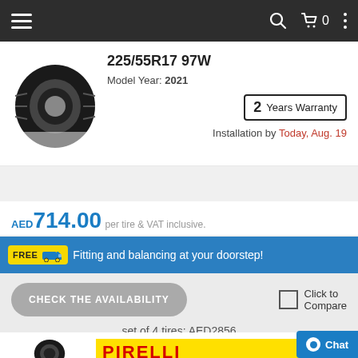Navigation bar with menu, search, cart (0), and options
225/55R17 97W
Model Year: 2021
2 Years Warranty
Installation by Today, Aug. 19
AED714.00 per tire & VAT inclusive.
FREE Fitting and balancing at your doorstep!
CHECK THE AVAILABILITY
Click to Compare
set of 4 tires: AED2856
[Figure (photo): Pirelli tire image (partial top)]
[Figure (logo): Pirelli logo on yellow background]
CINTURATO P7 C2 (AO)